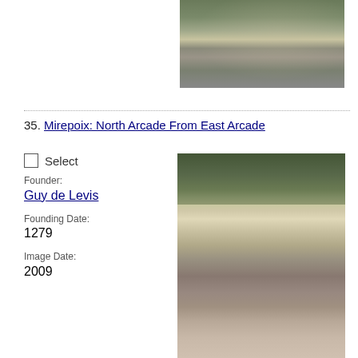[Figure (photo): Photograph of a marketplace arcade with people walking under wooden beams, market stalls visible in the background.]
35. Mirepoix: North Arcade From East Arcade
Select
Founder:
Guy de Levis
Founding Date:
1279
Image Date:
2009
[Figure (photo): Photograph of a medieval arcade street in Mirepoix, showing timber-framed buildings with colorful facades and wooden arcade pillars along a pedestrian street.]